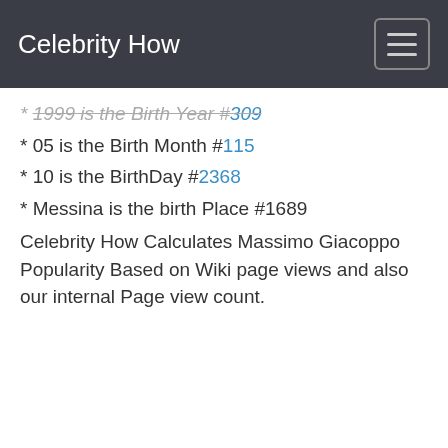Celebrity How
* 05 is the Birth Month #115
* 10 is the BirthDay #2368
* Messina is the birth Place #1689
Celebrity How Calculates Massimo Giacoppo Popularity Based on Wiki page views and also our internal Page view count.